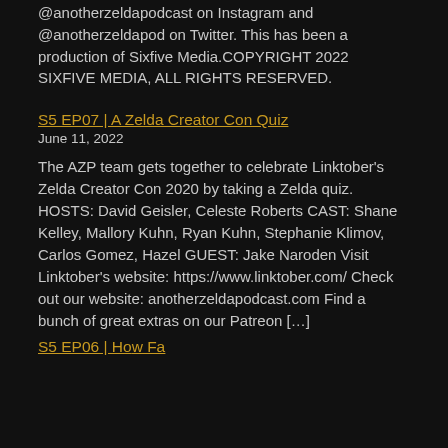@anotherzeldapodcast on Instagram and @anotherzeldapod on Twitter. This has been a production of Sixfive Media.COPYRIGHT 2022 SIXFIVE MEDIA, ALL RIGHTS RESERVED.
S5 EP07 | A Zelda Creator Con Quiz
June 11, 2022
The AZP team gets together to celebrate Linktober's Zelda Creator Con 2020 by taking a Zelda quiz. HOSTS: David Geisler, Celeste Roberts CAST: Shane Kelley, Mallory Kuhn, Ryan Kuhn, Stephanie Klimov, Carlos Gomez, Hazel GUEST: Jake Naroden Visit Linktober's website: https://www.linktober.com/ Check out our website: anotherzeldapodcast.com Find a bunch of great extras on our Patreon […]
S5 EP06 | How Fa...